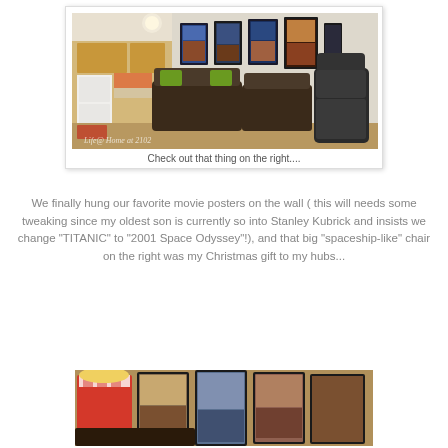[Figure (photo): Interior room with dark brown sofas with green pillows, movie posters on the wall, a kitchen visible in the background, and a large massage/recliner chair on the right. Watermark text reads 'Life@ Home at 2102'.]
Check out that thing on the right....
We finally hung our favorite movie posters on the wall ( this will needs some tweaking since my oldest son is currently so into Stanley Kubrick and insists we change "TITANIC" to "2001 Space Odyssey"!), and that big "spaceship-like" chair on the right was my Christmas gift to my hubs...
[Figure (photo): Close-up photo of framed movie posters on a wall, partially visible, with the bottom portion of a room visible.]